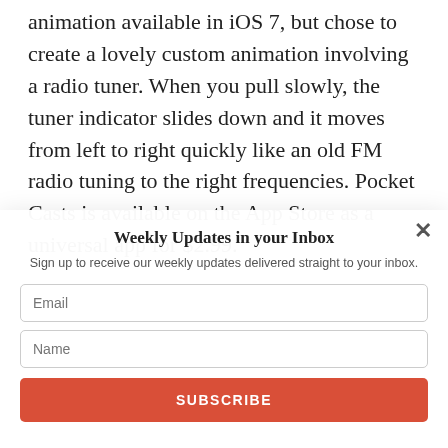animation available in iOS 7, but chose to create a lovely custom animation involving a radio tuner. When you pull slowly, the tuner indicator slides down and it moves from left to right quickly like an old FM radio tuning to the right frequencies. Pocket Casts is available on the App Store as a universal app for $2.99.
Weekly Updates in your Inbox
Sign up to receive our weekly updates delivered straight to your inbox.